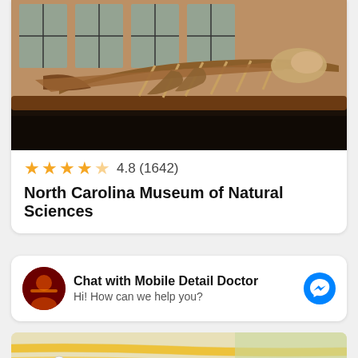[Figure (photo): Whale skeleton exhibit displayed inside the North Carolina Museum of Natural Sciences, showing large bones suspended in a museum hall with tall windows in the background]
4.8 (1642)
North Carolina Museum of Natural Sciences
Chat with Mobile Detail Doctor
Hi! How can we help you?
[Figure (map): Partial map view shown at the bottom of the page]